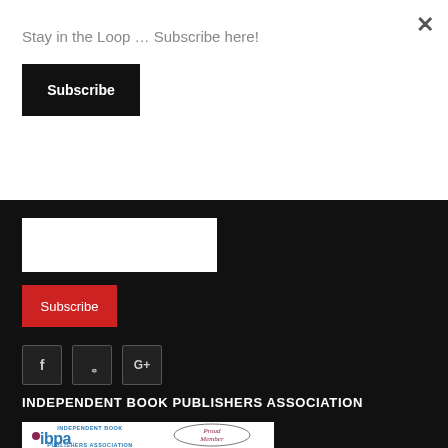Stay in the Loop … Subscribe here!
Subscribe
Subscribe
[Figure (screenshot): Social media icon buttons: Facebook (f), Twitter (bird), Google+ (G+) on dark background]
INDEPENDENT BOOK PUBLISHERS ASSOCIATION
[Figure (logo): IBPA Independent Book Publishers Association Proud Member logo — teal ibpa text with circle dot, surrounding text 'PUBLISHERS ASSOCIATION', and oval 'Proud Member' badge]